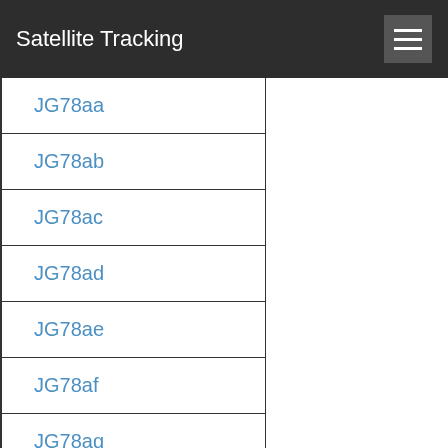Satellite Tracking
JG78aa
JG78ab
JG78ac
JG78ad
JG78ae
JG78af
JG78ag
JG78ah
JG78ai
JG78aj
JG78ak
JG78al
JG78am
JG78an
JG78ao
JG78ap
JG78aq